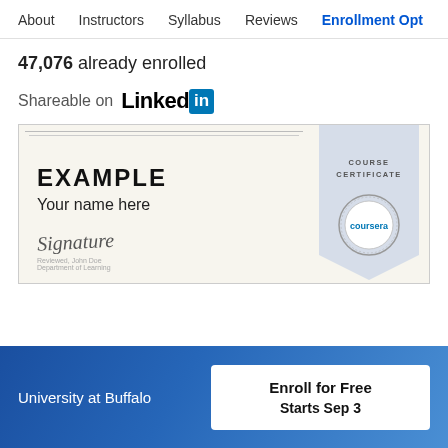About   Instructors   Syllabus   Reviews   Enrollment Opt
47,076 already enrolled
Shareable on LinkedIn
[Figure (illustration): Example course certificate showing 'EXAMPLE', 'Your name here', a signature, and a Coursera seal with banner reading 'COURSE CERTIFICATE']
University at Buffalo
Enroll for Free
Starts Sep 3